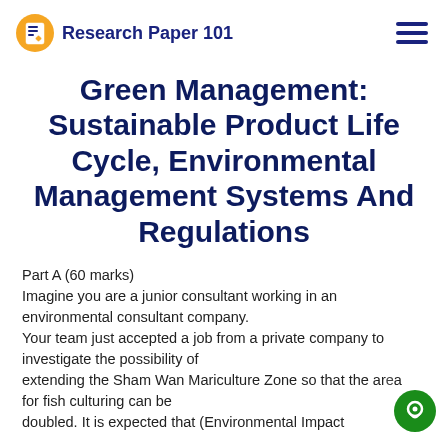Research Paper 101
Green Management: Sustainable Product Life Cycle, Environmental Management Systems And Regulations
Part A (60 marks)
Imagine you are a junior consultant working in an environmental consultant company.
Your team just accepted a job from a private company to investigate the possibility of extending the Sham Wan Mariculture Zone so that the area for fish culturing can be doubled. It is expected that (Environmental Impact